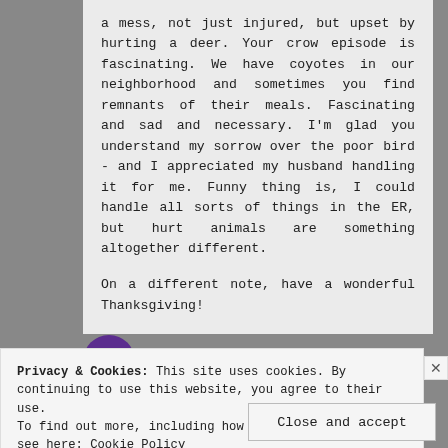a mess, not just injured, but upset by hurting a deer. Your crow episode is fascinating. We have coyotes in our neighborhood and sometimes you find remnants of their meals. Fascinating and sad and necessary. I'm glad you understand my sorrow over the poor bird - and I appreciated my husband handling it for me. Funny thing is, I could handle all sorts of things in the ER, but hurt animals are something altogether different.

On a different note, have a wonderful Thanksgiving!
Privacy & Cookies: This site uses cookies. By continuing to use this website, you agree to their use.
To find out more, including how to control cookies, see here: Cookie Policy
Close and accept